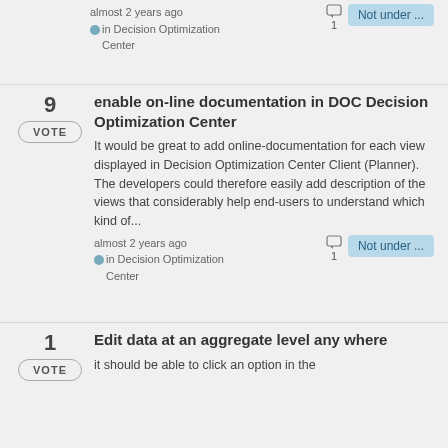almost 2 years ago
in Decision Optimization Center
Not under ...
enable on-line documentation in DOC Decision Optimization Center
9 VOTE
It would be great to add online-documentation for each view displayed in Decision Optimization Center Client (Planner). The developers could therefore easily add description of the views that considerably help end-users to understand which kind of...
almost 2 years ago
in Decision Optimization Center
Not under ...
Edit data at an aggregate level any where
1 VOTE
it should be able to click an option in the